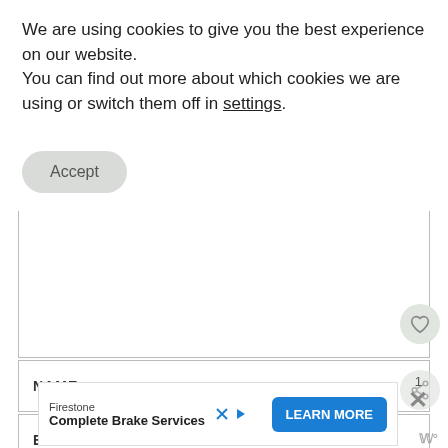We are using cookies to give you the best experience on our website.
You can find out more about which cookies we are using or switch them off in settings.
[Figure (screenshot): Accept button with rounded pill shape and light gray background]
[Figure (screenshot): Empty white content box with border. Heart icon button in lower right corner.]
NAME
1
EMAIL
[Figure (screenshot): Advertisement banner: Firestone Complete Brake Services with LEARN MORE button and X close button. X and play icon labels visible.]